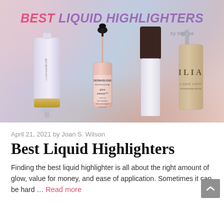[Figure (photo): Hero image with soft pink and purple watercolor background showing four liquid highlighter products: a tube (L.A. Girl), a dropper bottle (Dermablend Glow Creator), a tall white bottle with dark brown cap, and a pump bottle (ILIA Liquid Light). Text overlay reads BEST LIQUID HIGHLIGHTERS in bold pink and purple italic uppercase letters.]
April 21, 2021 by Joan S. Wilson
Best Liquid Highlighters
Finding the best liquid highlighter is all about the right amount of glow, value for money, and ease of application. Sometimes it can be hard … Read more